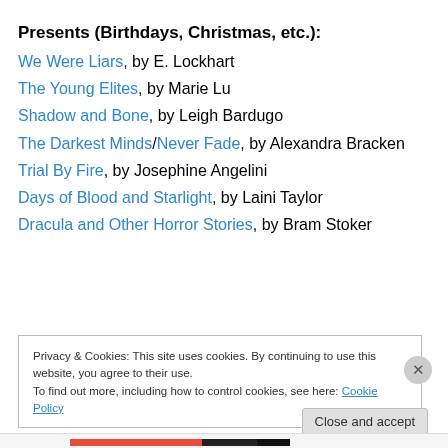Presents (Birthdays, Christmas, etc.):
We Were Liars, by E. Lockhart
The Young Elites, by Marie Lu
Shadow and Bone, by Leigh Bardugo
The Darkest Minds/Never Fade, by Alexandra Bracken
Trial By Fire, by Josephine Angelini
Days of Blood and Starlight, by Laini Taylor
Dracula and Other Horror Stories, by Bram Stoker
Privacy & Cookies: This site uses cookies. By continuing to use this website, you agree to their use. To find out more, including how to control cookies, see here: Cookie Policy
Close and accept